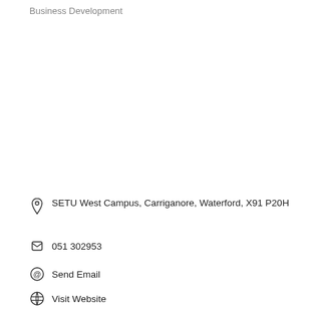Business Development
SETU West Campus, Carriganore, Waterford, X91 P20H
051 302953
Send Email
Visit Website